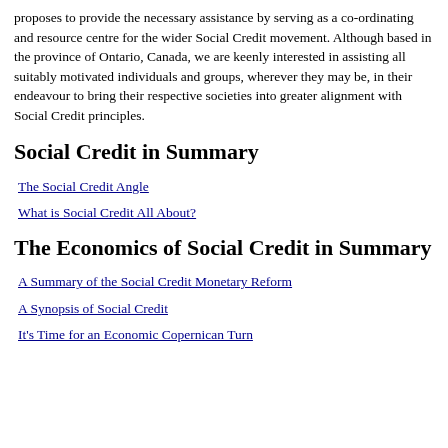proposes to provide the necessary assistance by serving as a co-ordinating and resource centre for the wider Social Credit movement. Although based in the province of Ontario, Canada, we are keenly interested in assisting all suitably motivated individuals and groups, wherever they may be, in their endeavour to bring their respective societies into greater alignment with Social Credit principles.
Social Credit in Summary
The Social Credit Angle
What is Social Credit All About?
The Economics of Social Credit in Summary
A Summary of the Social Credit Monetary Reform
A Synopsis of Social Credit
It's Time for an Economic Copernican Turn